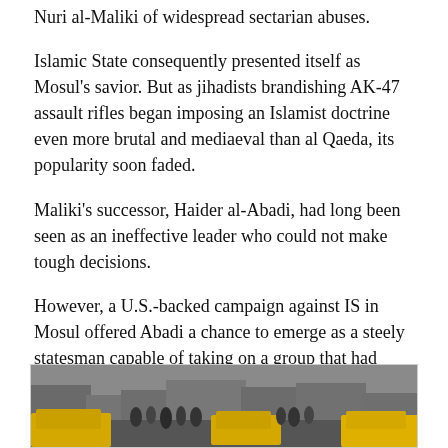Nuri al-Maliki of widespread sectarian abuses.
Islamic State consequently presented itself as Mosul's savior. But as jihadists brandishing AK-47 assault rifles began imposing an Islamist doctrine even more brutal and mediaeval than al Qaeda, its popularity soon faded.
Maliki's successor, Haider al-Abadi, had long been seen as an ineffective leader who could not make tough decisions.
However, a U.S.-backed campaign against IS in Mosul offered Abadi a chance to emerge as a steely statesman capable of taking on a group that had terrorized a sprawling city with beheadings in public squares while staging deadly attacks in the West.
[Figure (photo): Street scene showing a crowded road with yellow taxis and people in what appears to be a Middle Eastern city.]